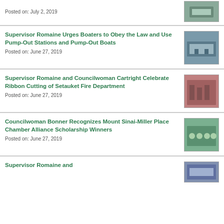Posted on: July 2, 2019
Supervisor Romaine Urges Boaters to Obey the Law and Use Pump-Out Stations and Pump-Out Boats
Posted on: June 27, 2019
Supervisor Romaine and Councilwoman Cartright Celebrate Ribbon Cutting of Setauket Fire Department
Posted on: June 27, 2019
Councilwoman Bonner Recognizes Mount Sinai-Miller Place Chamber Alliance Scholarship Winners
Posted on: June 27, 2019
Supervisor Romaine and
[Figure (photo): Small thumbnail photo at top right]
[Figure (photo): Photo of boats/marina pump-out station]
[Figure (photo): Photo of fire department ribbon cutting ceremony]
[Figure (photo): Photo of scholarship award group]
[Figure (photo): Small thumbnail photo at bottom right]